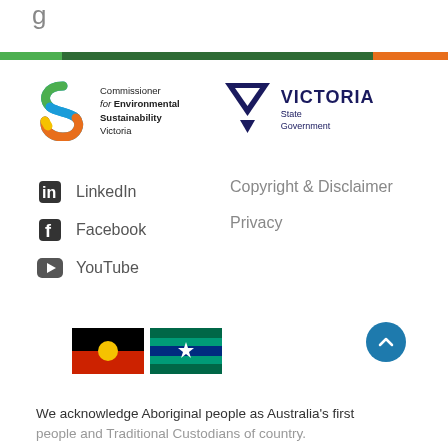[Figure (other): Partial letter 'g' visible at top left, likely end of a heading]
[Figure (infographic): Horizontal color bar: green, dark green, orange segments]
[Figure (logo): Commissioner for Environmental Sustainability Victoria logo with colorful S symbol]
[Figure (logo): Victoria State Government logo with dark blue triangle/arrow mark]
LinkedIn
Facebook
YouTube
Copyright & Disclaimer
Privacy
[Figure (illustration): Australian Aboriginal flag (black top, red bottom, yellow circle)]
[Figure (illustration): Torres Strait Islander flag (green, blue, white, with star symbol)]
We acknowledge Aboriginal people as Australia's first